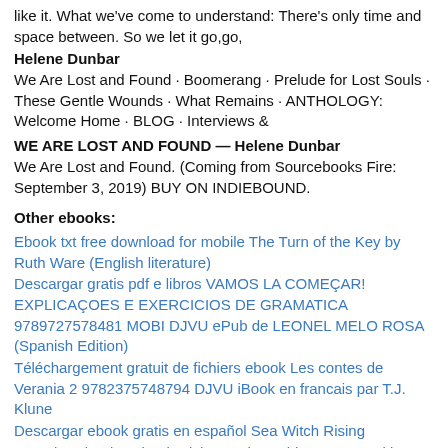like it. What we've come to understand: There's only time and space between. So we let it go,go,
Helene Dunbar
We Are Lost and Found · Boomerang · Prelude for Lost Souls · These Gentle Wounds · What Remains · ANTHOLOGY: Welcome Home · BLOG · Interviews &
WE ARE LOST AND FOUND — Helene Dunbar
We Are Lost and Found. (Coming from Sourcebooks Fire: September 3, 2019) BUY ON INDIEBOUND.
Other ebooks:
Ebook txt free download for mobile The Turn of the Key by Ruth Ware (English literature)
Descargar gratis pdf e libros VAMOS LA COMEÇAR! EXPLICAÇOES E EXERCICIOS DE GRAMATICA 9789727578481 MOBI DJVU ePub de LEONEL MELO ROSA (Spanish Edition)
Téléchargement gratuit de fichiers ebook Les contes de Verania 2 9782375748794 DJVU iBook en francais par T.J. Klune
Descargar ebook gratis en español Sea Witch Rising
Free download textbook Rich People Problems: A Novel by Kevin Kwan (English literature) MOBI CHM iBook 9780525432371
Descarga de libros en ingles QUAN DEIXAVEM DE SER INFANTS. VICENT ANDRES ESTELLES DES DEL FONS DE LA MEMORIA de